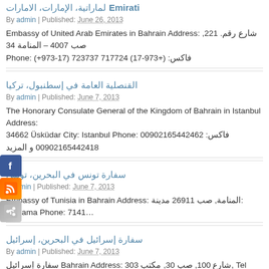Emirati (Arabic), UAE
By admin | Published: June 26, 2013
Embassy of United Arab Emirates in Bahrain Address: (Arabic) No. 221, P.O 4007 – (Arabic) 34 Phone: (+973-17) 723737 Fax: (+973-17) 717724
(Arabic) in Istanbul, Turkey
By admin | Published: June 7, 2013
The Honorary Consulate General of the Kingdom of Bahrain in Istanbul Address: 34662 Üsküdar City: Istanbul Phone: 00902165442462 Fax: 00902165442418 (Arabic)
Embassy of Tunisia (Arabic), Bahrain
By admin | Published: June 7, 2013
Embassy of Tunisia in Bahrain Address: (Arabic), P.O 26911 City: Manama Phone: 7141...
(Arabic) in Bahrain, (Arabic)
By admin | Published: June 7, 2013
(Arabic) Bahrain Address: (Arabic) 100, (Arabic) 30, (Arabic) 303, Tel Aviv P.O (Arabic) 30475